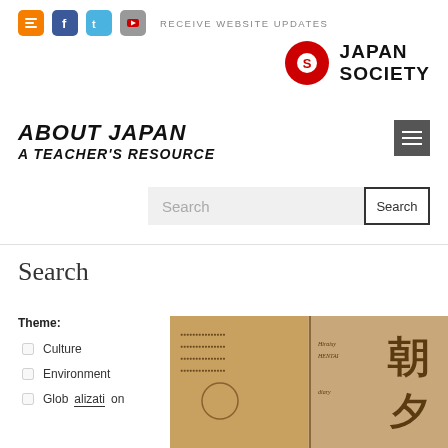RECEIVE WEBSITE UPDATES
[Figure (logo): Japan Society logo with red circular emblem and bold text JAPAN SOCIETY]
ABOUT JAPAN
A TEACHER'S RESOURCE
Search
Search
Theme:
Culture
Environment
Globalization
[Figure (photo): Japanese newspaper or document with kanji characters, showing the characters 朝夕 among other text on aged paper]